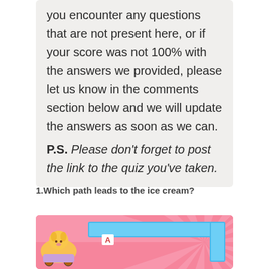you encounter any questions that are not present here, or if your score was not 100% with the answers we provided, please let us know in the comments section below and we will update the answers as soon as we can. P.S. Please don't forget to post the link to the quiz you've taken.
1.Which path leads to the ice cream?
[Figure (illustration): A colorful quiz illustration with a pink swirling sunburst background, a cartoon dog sticker on a toy car on the left, a blue rectangular path/maze element in the upper portion, and a letter 'A' marker in a white box.]